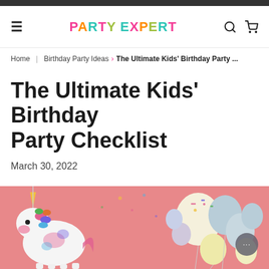PARTY EXPERT
Home > Birthday Party Ideas > The Ultimate Kids' Birthday Party ...
The Ultimate Kids' Birthday Party Checklist
March 30, 2022
[Figure (photo): A unicorn piñata hanging on the left and pastel balloons arranged on the right against a pink background]